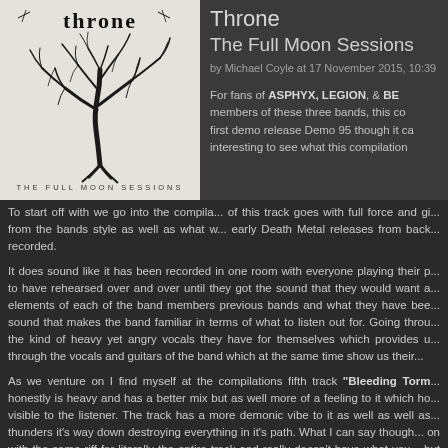Throne
The Full Moon Sessions
by Michael Coyle at 17 November 2015, 10:39
[Figure (illustration): Album cover for Throne - The Full Moon Sessions, showing a black tree silhouette on white/grey background with the text THE FULL MOON SESSIONS beneath]
For fans of ASPHYX, LEGION, & BE... members of these three bands, this co... first demo release Demo 95 though it ca... interesting to see what this compilation...
To start off with we go into the compila... of this track goes with full force and gi... from the bands style as well as what w... early Death Metal releases from back... recorded.
It does sound like it has been recorded in one room with everyone playing their p... to have rehearsed over and over until they got the sound that they would want a... elements of each of the band members previous bands and what they have bee... sound that makes the band familiar in terms of what to listen out for. Going throu... the kind of heavy yet angry vocals they have for themselves which provides u... through the vocals and guitars of the band which at the same time show us their...
As we venture on I find myself at the compilations fifth track "Bleeding Torm... honestly is heavy and has a better mix but as well more of a feeling to it which ho... visible to the listener. The track has a more demonic vibe to it as well as well as... thunders it's way down destroying everything in it's path. What I can say though... on with the same riff for literally the entire track and really doesn't have what you... but at the same time it just goes on in a loop without any change and really what... something that stands out.
The compilation is a showcase of some of the bands best and the band...